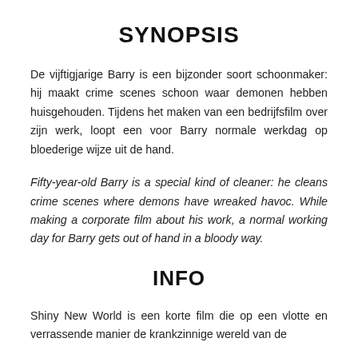SYNOPSIS
De vijftigjarige Barry is een bijzonder soort schoonmaker: hij maakt crime scenes schoon waar demonen hebben huisgehouden. Tijdens het maken van een bedrijfsfilm over zijn werk, loopt een voor Barry normale werkdag op bloederige wijze uit de hand.
Fifty-year-old Barry is a special kind of cleaner: he cleans crime scenes where demons have wreaked havoc. While making a corporate film about his work, a normal working day for Barry gets out of hand in a bloody way.
INFO
Shiny New World is een korte film die op een vlotte en verrassende manier de krankzinnige wereld van de